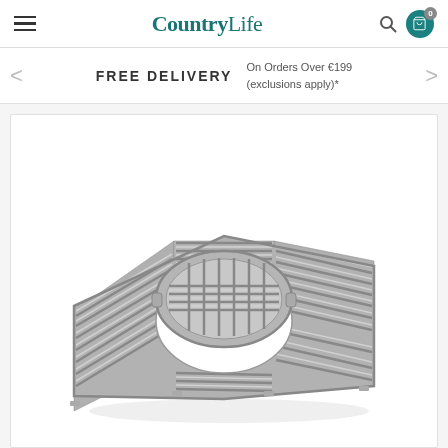CountryLife
FREE DELIVERY On Orders Over €199 (exclusions apply)*
[Figure (photo): A square cast iron BBQ grill grate with a circular removable center insert raised on top, showing a grid/slat pattern, photographed on white background.]